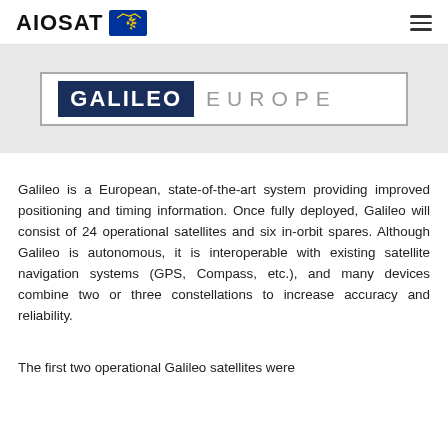AIOSAT [EU flag logo]
[Figure (screenshot): Banner image showing GALILEO logo in dark blue box beside 'EUROPE' text in grey, inside a rectangular border, on a light grey background]
Galileo is a European, state-of-the-art system providing improved positioning and timing information. Once fully deployed, Galileo will consist of 24 operational satellites and six in-orbit spares. Although Galileo is autonomous, it is interoperable with existing satellite navigation systems (GPS, Compass, etc.), and many devices combine two or three constellations to increase accuracy and reliability.
The first two operational Galileo satellites were